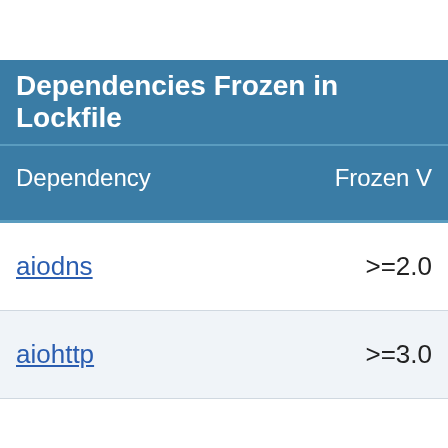| Dependency | Frozen Version |
| --- | --- |
| aiodns | >=2.0 |
| aiohttp | >=3.0 |